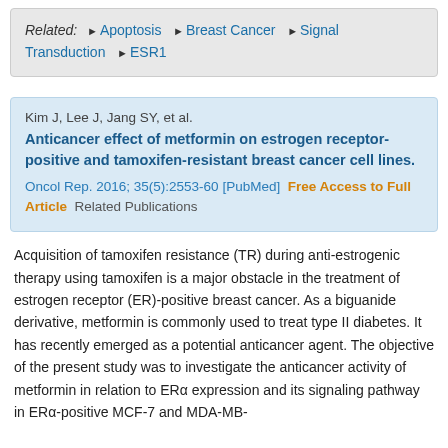Related: ► Apoptosis ► Breast Cancer ► Signal Transduction ► ESR1
Kim J, Lee J, Jang SY, et al. Anticancer effect of metformin on estrogen receptor-positive and tamoxifen-resistant breast cancer cell lines. Oncol Rep. 2016; 35(5):2553-60 [PubMed] Free Access to Full Article Related Publications
Acquisition of tamoxifen resistance (TR) during anti-estrogenic therapy using tamoxifen is a major obstacle in the treatment of estrogen receptor (ER)-positive breast cancer. As a biguanide derivative, metformin is commonly used to treat type II diabetes. It has recently emerged as a potential anticancer agent. The objective of the present study was to investigate the anticancer activity of metformin in relation to ERα expression and its signaling pathway in ERα-positive MCF-7 and MDA-MB-